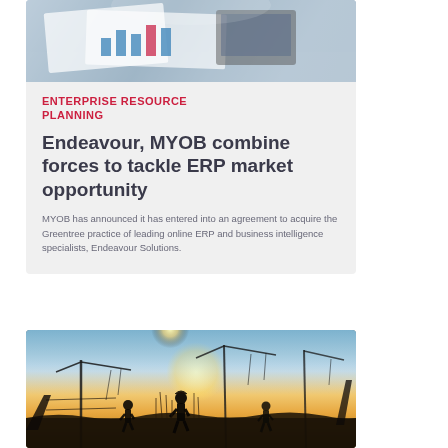[Figure (photo): Photo of a desk with papers and charts (financial/business documents), seen from above]
ENTERPRISE RESOURCE PLANNING
Endeavour, MYOB combine forces to tackle ERP market opportunity
MYOB has announced it has entered into an agreement to acquire the Greentree practice of leading online ERP and business intelligence specialists, Endeavour Solutions.
[Figure (photo): Construction site at sunset with silhouettes of workers and cranes against an orange sky]